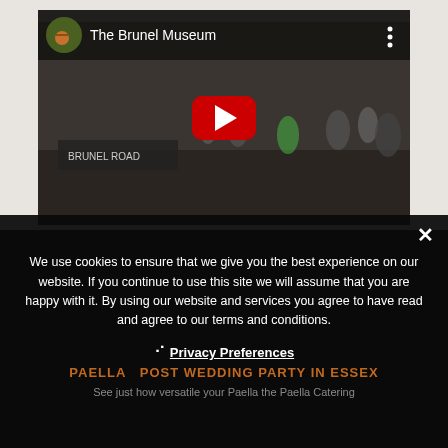[Figure (screenshot): YouTube video embed showing 'The Brunel Museum' thumbnail with a crowd of people and a play button overlay. The video bar shows a circular icon and title 'The Brunel Museum' with a three-dot menu.]
We use cookies to ensure that we give you the best experience on our website. If you continue to use this site we will assume that you are happy with it. By using our website and services you agree to have read and agree to our terms and conditions.
Privacy Preferences
I Agree
Message
PAELLA POST WEDDING PARTY IN ESSEX
See just how versatile your Paella the Paella Catering